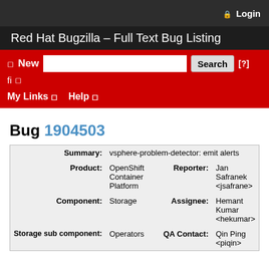🔒 Login
Red Hat Bugzilla – Full Text Bug Listing
New  Search  [?]  fi  My Links  Help
Bug 1904503
| Field | Value | Field | Value |
| --- | --- | --- | --- |
| Summary: | vsphere-problem-detector: emit alerts |  |  |
| Product: | OpenShift Container Platform | Reporter: | Jan Safranek <jsafrane> |
| Component: | Storage | Assignee: | Hemant Kumar <hekumar> |
| Storage sub component: | Operators | QA Contact: | Qin Ping <piqin> |